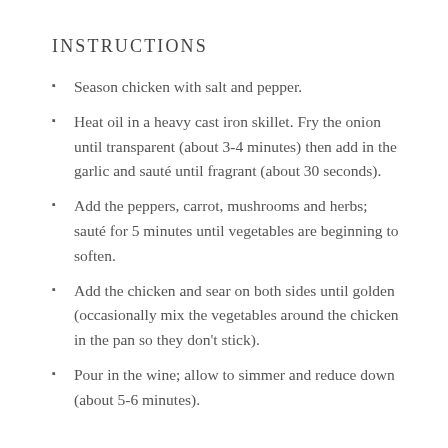INSTRUCTIONS
Season chicken with salt and pepper.
Heat oil in a heavy cast iron skillet. Fry the onion until transparent (about 3-4 minutes) then add in the garlic and sauté until fragrant (about 30 seconds).
Add the peppers, carrot, mushrooms and herbs; sauté for 5 minutes until vegetables are beginning to soften.
Add the chicken and sear on both sides until golden (occasionally mix the vegetables around the chicken in the pan so they don't stick).
Pour in the wine; allow to simmer and reduce down (about 5-6 minutes).